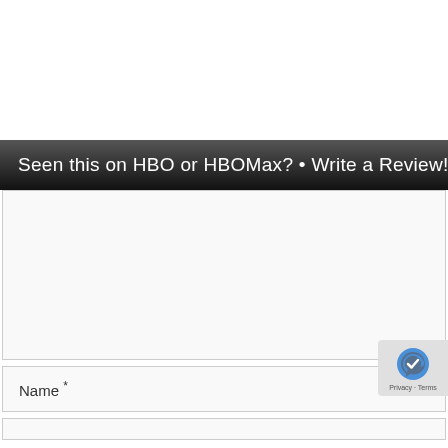Seen this on HBO or HBOMax? • Write a Review!
[Text area input field]
Name *
[Email input field]